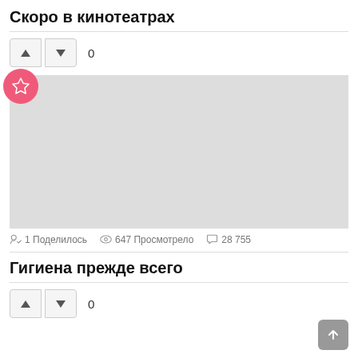Скоро в кинотеатрах
▲ ▼ 0
[Figure (illustration): Gray placeholder image block with a pink circular star badge in the top-left corner]
1 Поделилось   647 Просмотрело   28 755
Гигиена прежде всего
▲ ▼ 0